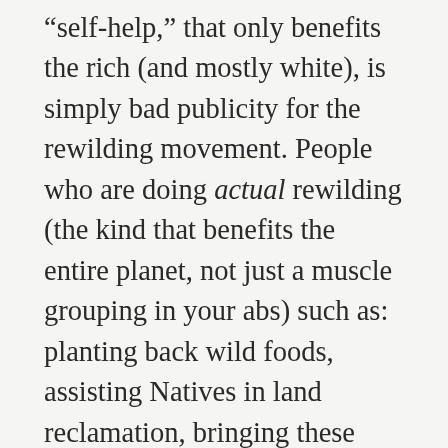“self-help,” that only benefits the rich (and mostly white), is simply bad publicity for the rewilding movement. People who are doing actual rewilding (the kind that benefits the entire planet, not just a muscle grouping in your abs) such as: planting back wild foods, assisting Natives in land reclamation, bringing these skills and ideas to communities of color, and communities with economic disparities, will be discredited. It’s bad publicity because it makes it look to the general public as if rewilding is just something for self-absorbed, rich, white people, who just want to look good naked, rather than a